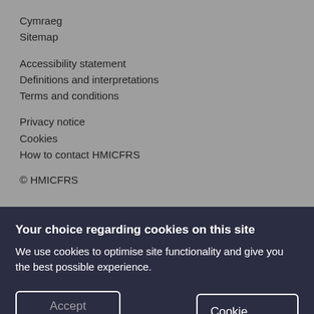Cymraeg
Sitemap
Accessibility statement
Definitions and interpretations
Terms and conditions
Privacy notice
Cookies
How to contact HMICFRS
© HMICFRS
Your choice regarding cookies on this site
We use cookies to optimise site functionality and give you the best possible experience.
Accept   Reject   Cookie Preferences